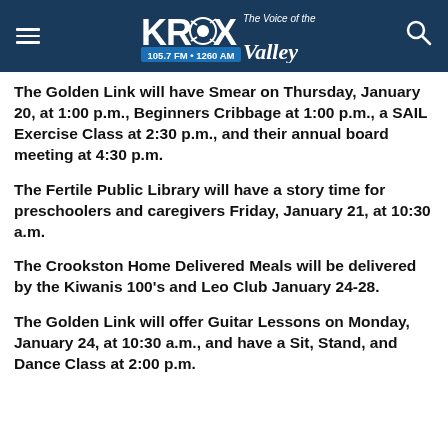KROX 105.7 FM • 1260 AM The Voice of the Valley
The Golden Link will have Smear on Thursday, January 20, at 1:00 p.m., Beginners Cribbage at 1:00 p.m., a SAIL Exercise Class at 2:30 p.m., and their annual board meeting at 4:30 p.m.
The Fertile Public Library will have a story time for preschoolers and caregivers Friday, January 21, at 10:30 a.m.
The Crookston Home Delivered Meals will be delivered by the Kiwanis 100's and Leo Club January 24-28.
The Golden Link will offer Guitar Lessons on Monday, January 24, at 10:30 a.m., and have a Sit, Stand, and Dance Class at 2:00 p.m.